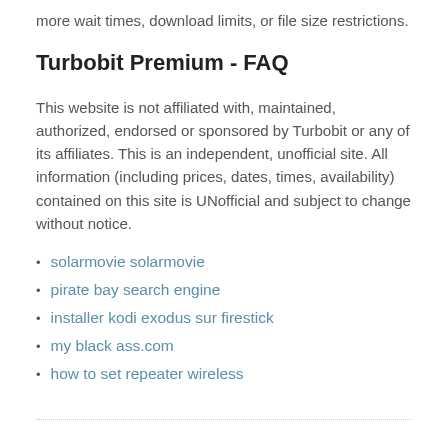more wait times, download limits, or file size restrictions.
Turbobit Premium - FAQ
This website is not affiliated with, maintained, authorized, endorsed or sponsored by Turbobit or any of its affiliates. This is an independent, unofficial site. All information (including prices, dates, times, availability) contained on this site is UNofficial and subject to change without notice.
solarmovie solarmovie
pirate bay search engine
installer kodi exodus sur firestick
my black ass.com
how to set repeater wireless